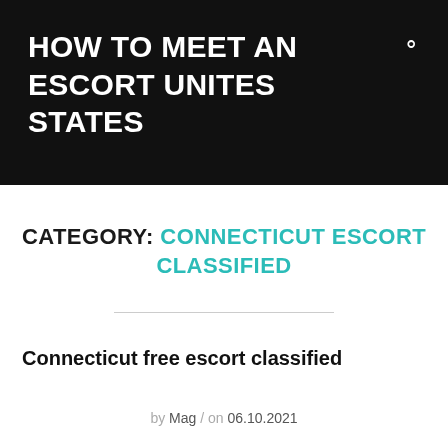HOW TO MEET AN ESCORT UNITES STATES
CATEGORY: CONNECTICUT ESCORT CLASSIFIED
Connecticut free escort classified
by Mag / on 06.10.2021